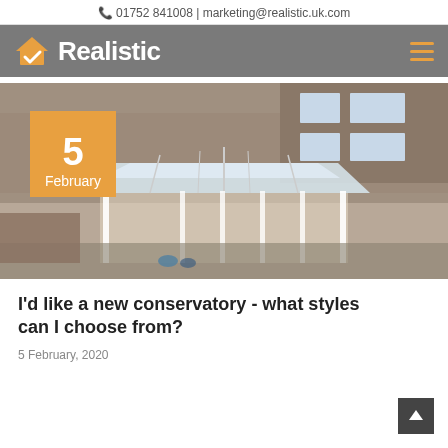01752 841008 | marketing@realistic.uk.com
[Figure (logo): Realistic company logo with house/checkmark icon and wordmark 'Realistic' on grey bar, with hamburger menu icon]
[Figure (photo): Aerial/overhead view of a white conservatory with glass roof attached to a brick house, with orange date badge showing '5 February']
I'd like a new conservatory - what styles can I choose from?
5 February, 2020